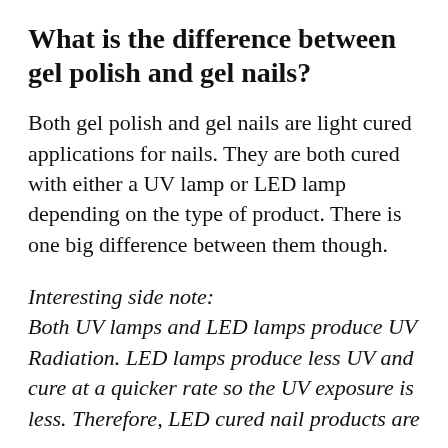What is the difference between gel polish and gel nails?
Both gel polish and gel nails are light cured applications for nails. They are both cured with either a UV lamp or LED lamp depending on the type of product. There is one big difference between them though.
Interesting side note: Both UV lamps and LED lamps produce UV Radiation. LED lamps produce less UV and cure at a quicker rate so the UV exposure is less. Therefore, LED cured nail products are